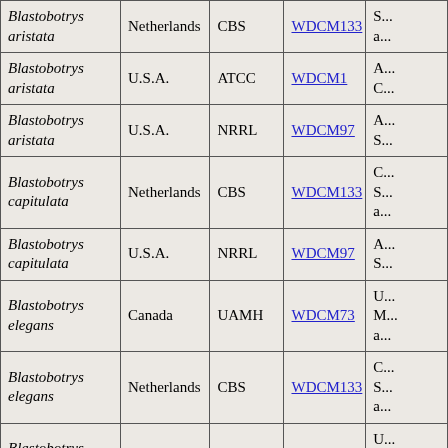| Blastobotrys aristata | Netherlands | CBS | WDCM133 | S... a... |
| Blastobotrys aristata | U.S.A. | ATCC | WDCM1 | A... C... |
| Blastobotrys aristata | U.S.A. | NRRL | WDCM97 | A... S... |
| Blastobotrys capitulata | Netherlands | CBS | WDCM133 | C... S... a... |
| Blastobotrys capitulata | U.S.A. | NRRL | WDCM97 | A... S... |
| Blastobotrys elegans | Canada | UAMH | WDCM73 | U... M... a... |
| Blastobotrys elegans | Netherlands | CBS | WDCM133 | C... S... a... |
| Blastobotrys elegans | Sweden | UPSC | WDCM603 | U... C... F... |
| Blastobotrys elegans | U.S.A. | NRRL | WDCM97 | A... |